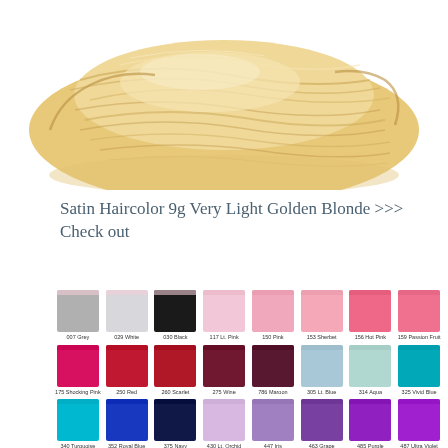[Figure (photo): Coiled skeins of blonde hair, light golden color, on white background]
Satin Haircolor 9g Very Light Golden Blonde >>> Check out
[Figure (infographic): Color swatch grid showing satin ribbon colors: Row 1: 007 Grey, 029 White, 030 Black, 117 Lt. Pink, 150 Pink, 153 Sherbet, 156 Hot Pink, 159 Passion Fruit. Row 2: 175 Shocking Pink, 250 Red, 260 Scarlet, 275 Wine, 786 Maroon, 305 Lt. Blue, 314 Aqua, 325 Vivid Blue. Row 3: 340 Turquoise, 352 Royal Blue, 375 Navy, 430 Lt. Orchid, 447 Iris, 463 Grape, 485 Purple, 487 Ultra Violet]